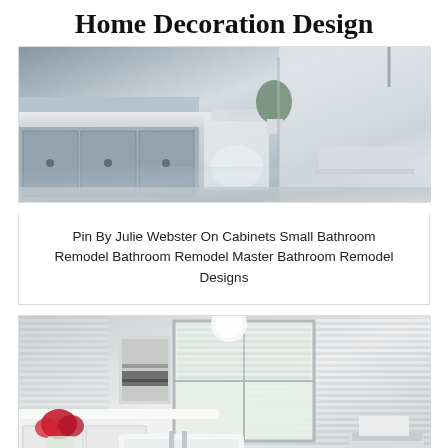Home Decoration Design
[Figure (photo): Bathroom with gray cabinets, white countertop, toilet, and walk-in shower with bench]
Pin By Julie Webster On Cabinets Small Bathroom Remodel Bathroom Remodel Master Bathroom Remodel Designs
[Figure (photo): Modern white bathroom with striped walls, freestanding tub, black artwork, red flowers, and dark tile floor]